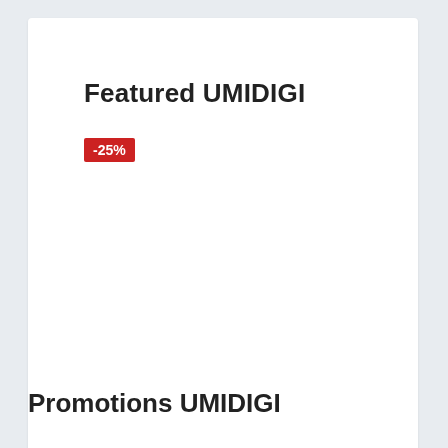Featured UMIDIGI
-25%
U90
Upods
39.90€  29.90€
14.00€
Promotions UMIDIGI